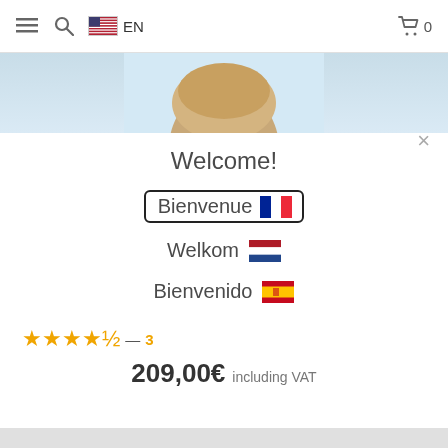☰  🔍  🇺🇸 EN  🛒 0
[Figure (photo): Top of a child's head with blonde hair against a light blue sky background]
×
Welcome!
Bienvenue 🇫🇷
Welkom 🇳🇱
Bienvenido 🇪🇸
★★★★½ — 3
209,00€ including VAT